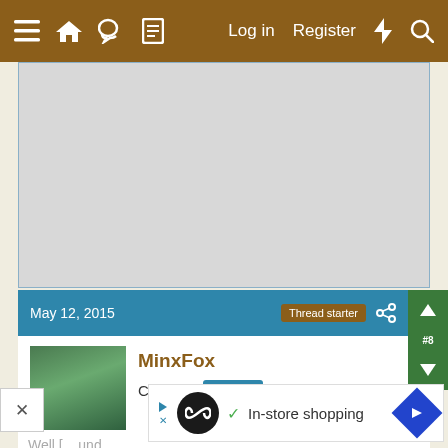≡  🏠  💬  📄    Log in   Register  ⚡  🔍
[Figure (other): Gray advertisement placeholder box with blue border]
May 12, 2015   Thread starter
MinxFox
Crowing  9 Years
Well [...]und,
maybe
[Figure (infographic): Ad overlay: Infinity loop logo, play and X controls, checkmark, 'In-store shopping' text, blue diamond arrow button]